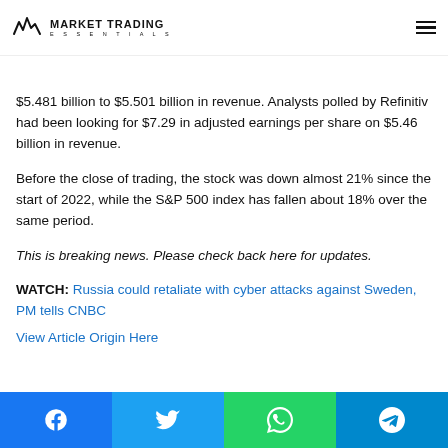MARKET TRADING ESSENTIALS
$5.481 billion to $5.501 billion in revenue. Analysts polled by Refinitiv had been looking for $7.29 in adjusted earnings per share on $5.46 billion in revenue.
Before the close of trading, the stock was down almost 21% since the start of 2022, while the S&P 500 index has fallen about 18% over the same period.
This is breaking news. Please check back here for updates.
WATCH: Russia could retaliate with cyber attacks against Sweden, PM tells CNBC
View Article Origin Here